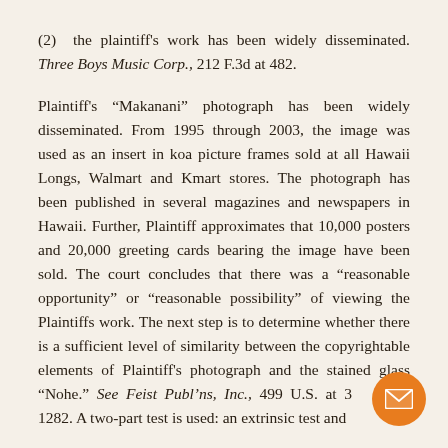(2) the plaintiff's work has been widely disseminated. Three Boys Music Corp., 212 F.3d at 482.
Plaintiff's "Makanani" photograph has been widely disseminated. From 1995 through 2003, the image was used as an insert in koa picture frames sold at all Hawaii Longs, Walmart and Kmart stores. The photograph has been published in several magazines and newspapers in Hawaii. Further, Plaintiff approximates that 10,000 posters and 20,000 greeting cards bearing the image have been sold. The court concludes that there was a "reasonable opportunity" or "reasonable possibility" of viewing the Plaintiffs work. The next step is to determine whether there is a sufficient level of similarity between the copyrightable elements of Plaintiff's photograph and the stained glass "Nohe." See Feist Publ'ns, Inc., 499 U.S. at 3 S.Ct. 1282. A two-part test is used: an extrinsic test and